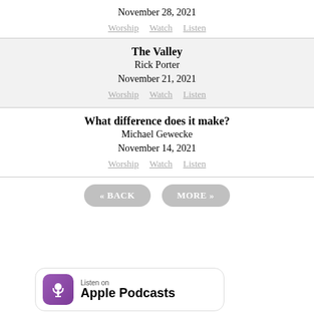November 28, 2021
Worship  Watch  Listen
The Valley
Rick Porter
November 21, 2021
Worship  Watch  Listen
What difference does it make?
Michael Gewecke
November 14, 2021
Worship  Watch  Listen
« BACK   MORE »
[Figure (logo): Listen on Apple Podcasts badge with purple podcast microphone icon]